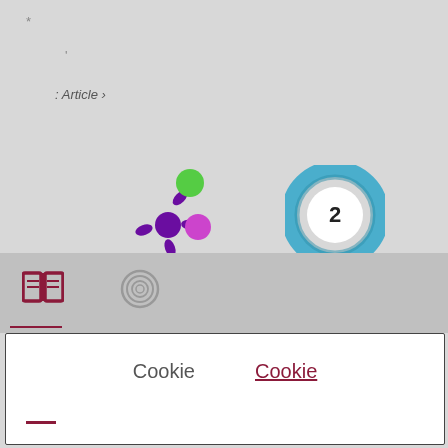*
'
: Article ›
[Figure (logo): Two logos: a purple splat/asterisk shape with green and purple circles (Altmetric logo), and a teal/blue circular ring with number 2 inside]
[Figure (logo): Book icon (open book, red/maroon) and a spiral/fingerprint grey icon in navigation bar]
Cookie
Cookie